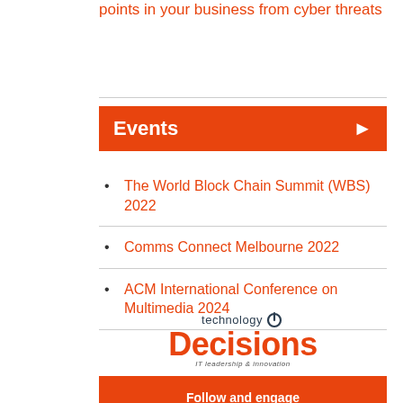points in your business from cyber threats
Events
The World Block Chain Summit (WBS) 2022
Comms Connect Melbourne 2022
ACM International Conference on Multimedia 2024
[Figure (logo): Technology Decisions logo with power button icon and tagline 'IT leadership & innovation']
Follow and engage with your industry's vital